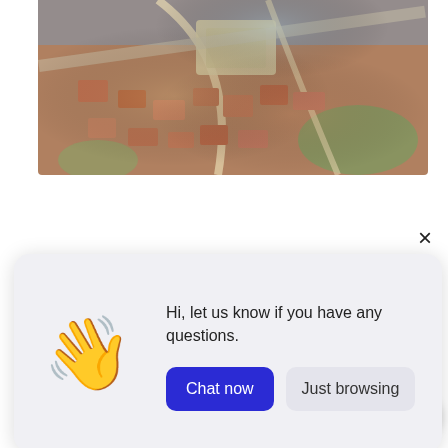[Figure (photo): Aerial fisheye view of an urban neighborhood with orange/red roofed buildings, roads, and a distinctive curved building structure visible from above.]
×
[Figure (screenshot): Chat popup widget with waving hand emoji, text 'Hi, let us know if you have any questions.', a blue 'Chat now' button, and a light 'Just browsing' button. Below is a message input bar with placeholder 'Write a message...' and a send button.]
Hi, let us know if you have any questions.
Chat now
Just browsing
Write a message...
турецкий обед
затем насладиться прогулкой по парку Фенербахче.